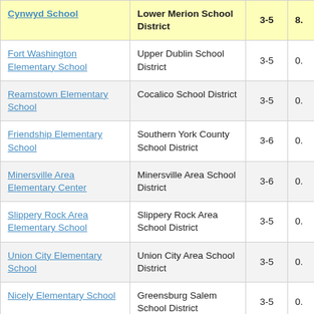| School | District | Grades | Score |
| --- | --- | --- | --- |
| Cynwyd School | Lower Merion School District | 3-5 | 8. |
| Fort Washington Elementary School | Upper Dublin School District | 3-5 | 0. |
| Reamstown Elementary School | Cocalico School District | 3-5 | 0. |
| Friendship Elementary School | Southern York County School District | 3-6 | 0. |
| Minersville Area Elementary Center | Minersville Area School District | 3-6 | 0. |
| Slippery Rock Area Elementary School | Slippery Rock Area School District | 3-5 | 0. |
| Union City Elementary School | Union City Area School District | 3-5 | 0. |
| Nicely Elementary School | Greensburg Salem School District | 3-5 | 0. |